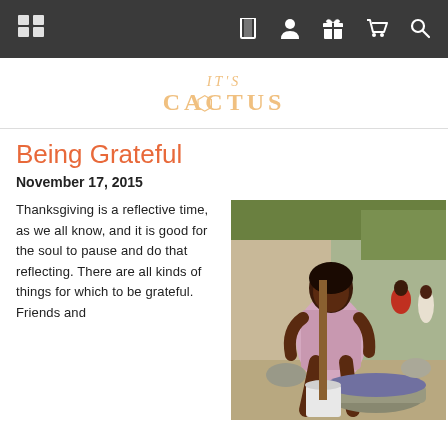Navigation bar with menu icons
[Figure (logo): It's Cactus logo in light orange/tan decorative font]
Being Grateful
November 17, 2015
Thanksgiving is a reflective time, as we all know, and it is good for the soul to pause and do that reflecting. There are all kinds of things for which to be grateful. Friends and
[Figure (photo): A woman sitting outdoors washing clothes in a basin, with other people visible in the background, in what appears to be Haiti or a developing country setting]